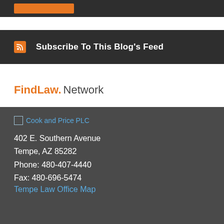[Figure (other): Dark top bar with an orange button placeholder]
Subscribe To This Blog's Feed
FindLaw. Network
[Figure (logo): Cook and Price PLC firm logo (broken image)]
402 E. Southern Avenue
Tempe, AZ 85282
Phone: 480-407-4440
Fax: 480-696-5474
Tempe Law Office Map